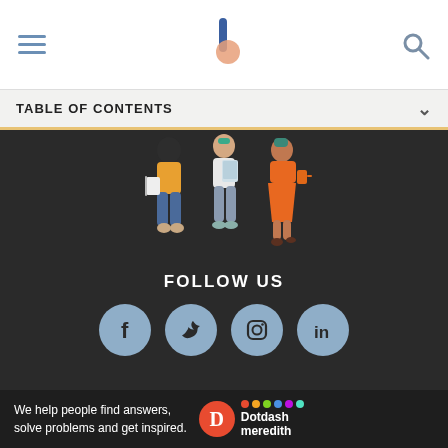TABLE OF CONTENTS
[Figure (illustration): Three illustrated figures: a person in yellow top and jeans holding a book, a person in white top and gray jeans holding a tablet, and a person in orange dress holding a cup, standing together on a dark background.]
FOLLOW US
[Figure (infographic): Four social media icons in light blue circles: Facebook (f), Twitter (bird), Instagram (camera), LinkedIn (in)]
ABOUT US
TERMS OF USE
ADVERTISE
PRIVACY POLICY
We help people find answers, solve problems and get inspired. Dotdash meredith